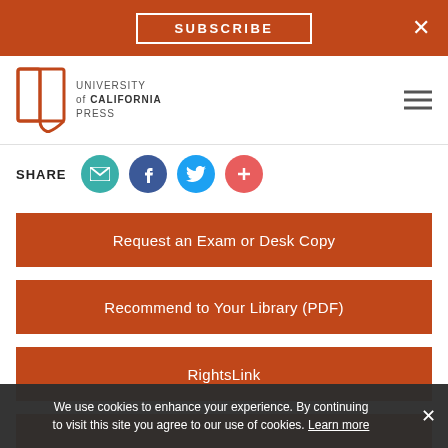SUBSCRIBE
[Figure (logo): University of California Press logo with open book icon and text]
SHARE
Request an Exam or Desk Copy
Recommend to Your Library (PDF)
RightsLink
We use cookies to enhance your experience. By continuing to visit this site you agree to our use of cookies. Learn more